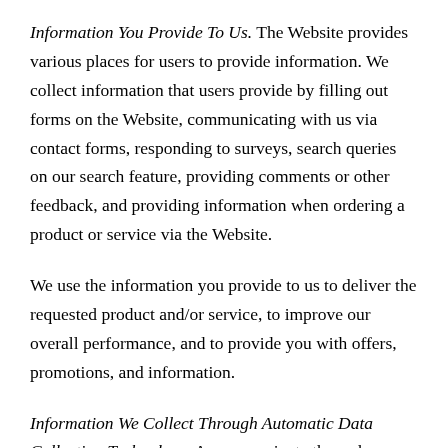Information You Provide To Us. The Website provides various places for users to provide information. We collect information that users provide by filling out forms on the Website, communicating with us via contact forms, responding to surveys, search queries on our search feature, providing comments or other feedback, and providing information when ordering a product or service via the Website.
We use the information you provide to us to deliver the requested product and/or service, to improve our overall performance, and to provide you with offers, promotions, and information.
Information We Collect Through Automatic Data Collection Technology. As you navigate through our